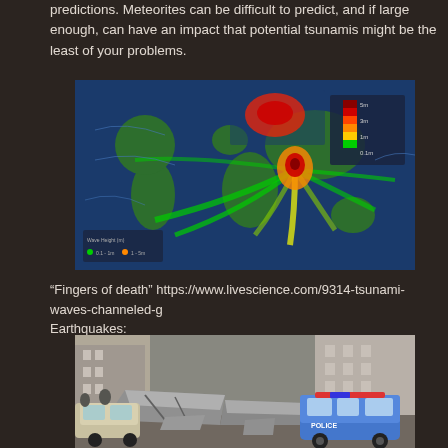predictions. Meteorites can be difficult to predict, and if large enough, can have an impact that potential tsunamis might be the least of your problems.
[Figure (map): World map showing tsunami wave propagation patterns, with color coding from blue/green to yellow/orange/red indicating wave height or energy. Lines emanate from a central source point spreading across the Pacific Ocean. Referred to as 'Fingers of death'.]
“Fingers of death” https://www.livescience.com/9314-tsunami-waves-channeled-g Earthquakes:
[Figure (photo): Photograph of earthquake damage showing a collapsed and broken road/pavement with large chunks of concrete lifted and displaced. A blue and white police car is visible on the right side of the image. Buildings are visible in the background.]